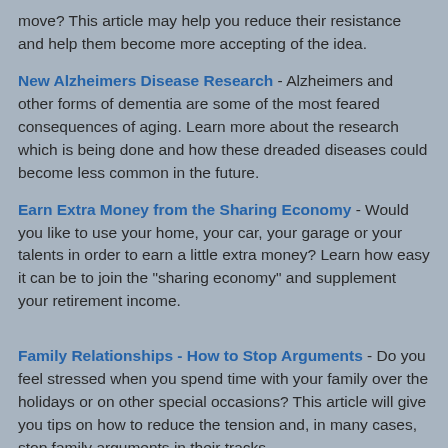move?  This article may help you reduce their resistance and help them become more accepting of the idea.
New Alzheimers Disease Research - Alzheimers and other forms of dementia are some of the most feared consequences of aging.  Learn more about the research which is being done and how these dreaded diseases could become less common in the future.
Earn Extra Money from the Sharing Economy - Would you like to use your home, your car, your garage or your talents in order to earn a little extra money?  Learn how easy it can be to join the "sharing economy" and supplement your retirement income.
Family Relationships - How to Stop Arguments - Do you feel stressed when you spend time with your family over the holidays or on other special occasions?  This article will give you tips on how to reduce the tension and, in many cases, stop family arguments in their tracks.
How you can become a better...